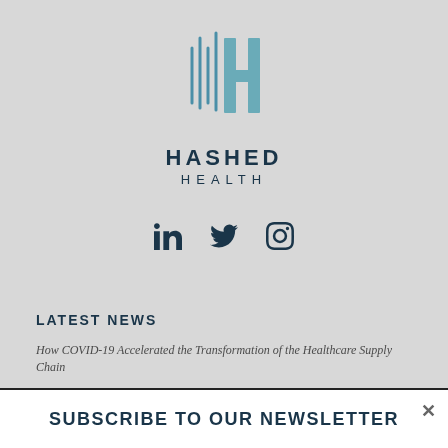[Figure (logo): Hashed Health logo — stylized H with vertical lines on left side and block H on right, in teal/slate color, with 'HASHED HEALTH' text below in dark navy]
[Figure (other): Social media icons row: LinkedIn, Twitter, Instagram — all in dark navy color]
LATEST NEWS
How COVID-19 Accelerated the Transformation of the Healthcare Supply Chain
This site uses cookies. By continuing to browse the site, you are agreeing to our use of cookies.
SUBSCRIBE TO OUR NEWSLETTER